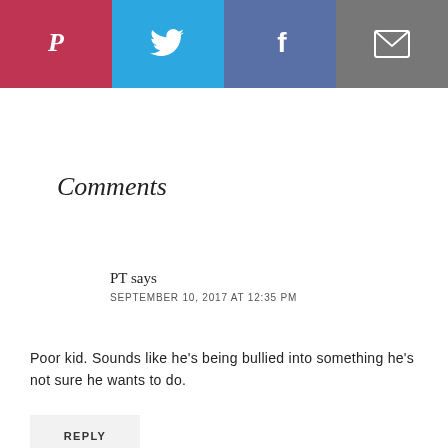[Figure (infographic): Social share buttons bar: Pinterest (red), Twitter (light blue), Facebook (blue-grey), Email (grey), each with white icon]
Comments
PT says
SEPTEMBER 10, 2017 AT 12:35 PM
Poor kid. Sounds like he's being bullied into something he's not sure he wants to do.
REPLY